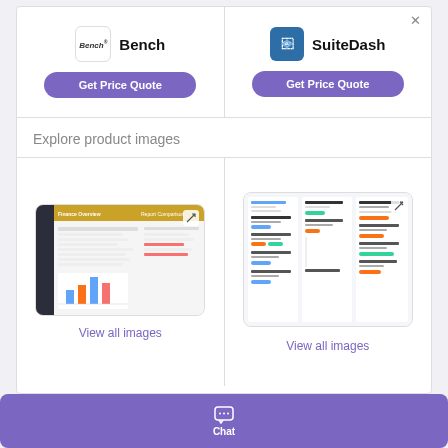[Figure (screenshot): Bench logo - text logo with superscript mark]
Bench
[Figure (logo): SuiteDash circular logo icon in dark blue]
SuiteDash
Get Price Quote
Get Price Quote
Explore product images
[Figure (screenshot): Bench accounting software dashboard screenshot showing financial overview]
View all images
[Figure (screenshot): SuiteDash project management dashboard screenshot showing tasks and projects]
View all images
Chat